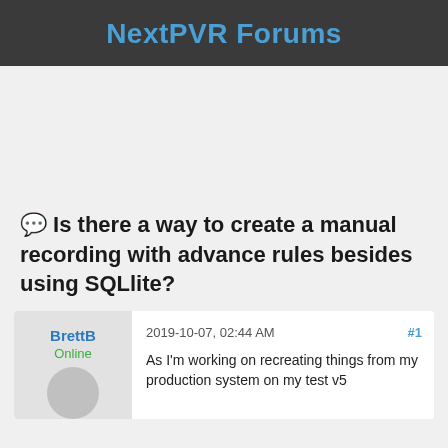NextPVR Forums
💬 Is there a way to create a manual recording with advance rules besides using SQLlite?
BrettB
Online
2019-10-07, 02:44 AM
#1
As I'm working on recreating things from my production system on my test v5